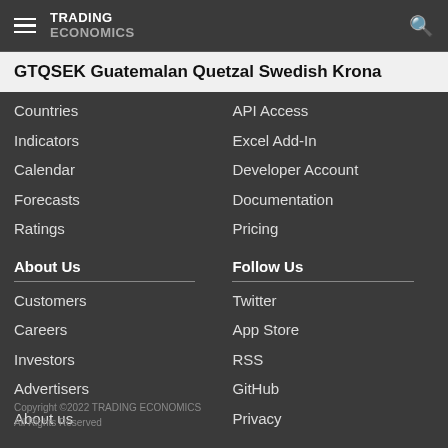TRADING ECONOMICS
GTQSEK Guatemalan Quetzal Swedish Krona
Countries
Indicators
Calendar
Forecasts
Ratings
API Access
Excel Add-In
Developer Account
Documentation
Pricing
About Us
Follow Us
Customers
Careers
Investors
Advertisers
About us
Twitter
App Store
RSS
GitHub
Privacy
Copyright ©2022 TRADING ECONOMICS
All Rights Reserved